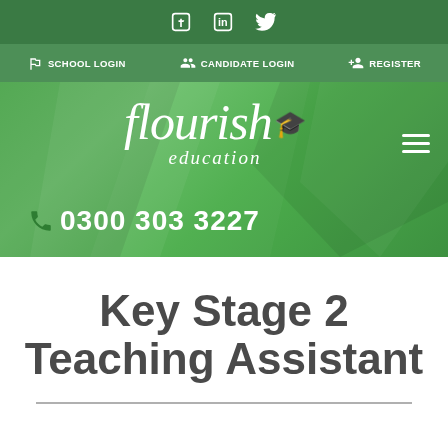Social icons: Facebook, LinkedIn, Twitter
SCHOOL LOGIN | CANDIDATE LOGIN | REGISTER
[Figure (logo): Flourish Education logo with mortarboard icon, phone number 0300 303 3227, green geometric background with hamburger menu]
Key Stage 2 Teaching Assistant